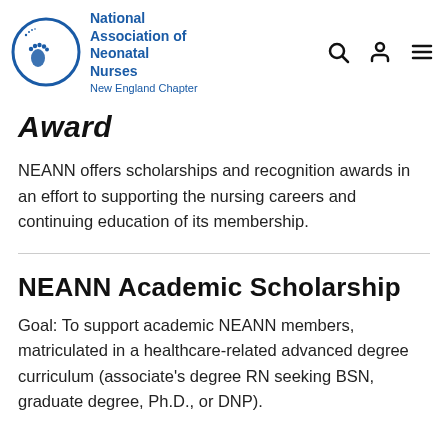[Figure (logo): National Association of Neonatal Nurses - New England Chapter logo with circular emblem showing baby footprints]
Award
NEANN offers scholarships and recognition awards in an effort to supporting the nursing careers and continuing education of its membership.
NEANN Academic Scholarship
Goal: To support academic NEANN members, matriculated in a healthcare-related advanced degree curriculum (associate's degree RN seeking BSN, graduate degree, Ph.D., or DNP).